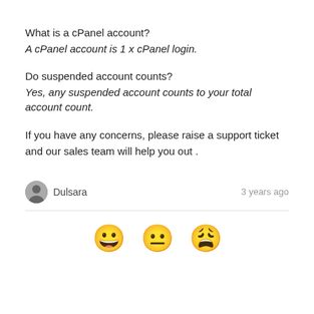What is a cPanel account?
A cPanel account is 1 x cPanel login.
Do suspended account counts?
Yes, any suspended account counts to your total account count.
If you have any concerns, please raise a support ticket and our sales team will help you out .
Dulsara
3 years ago
[Figure (illustration): Three emoji faces: grinning face, neutral face, and exhausted/weary face rendered in yellow.]